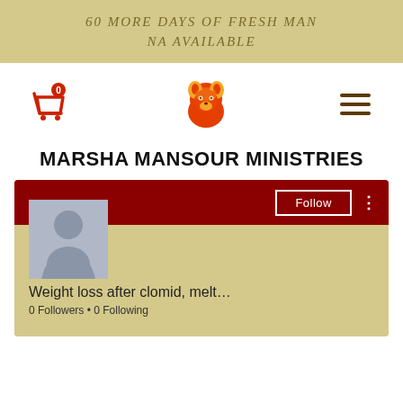60 MORE DAYS OF FRESH MAN NA AVAILABLE
[Figure (logo): Shopping cart icon with 0 badge, lion logo, hamburger menu icon]
MARSHA MANSOUR MINISTRIES
[Figure (screenshot): Social media profile card with dark red header, avatar placeholder, Follow button, and profile info showing 'Weight loss after clomid, melt...' with 0 Followers • 0 Following]